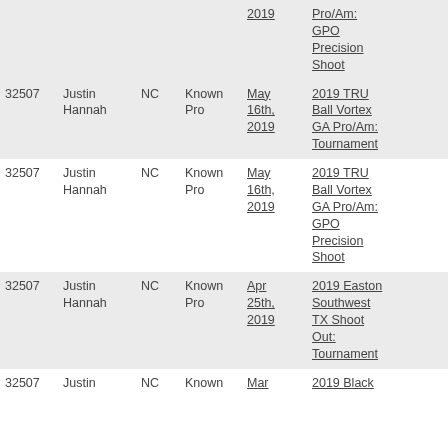| ID | Name | ST | Class | Date | Event | # |
| --- | --- | --- | --- | --- | --- | --- |
|  |  |  |  | 2019 | Pro/Am: GPO Precision Shoot |  |
| 32507 | Justin Hannah | NC | Known Pro | May 16th, 2019 | 2019 TRU Ball Vortex GA Pro/Am: Tournament | 17 |
| 32507 | Justin Hannah | NC | Known Pro | May 16th, 2019 | 2019 TRU Ball Vortex GA Pro/Am: GPO Precision Shoot | 1 |
| 32507 | Justin Hannah | NC | Known Pro | Apr 25th, 2019 | 2019 Easton Southwest TX Shoot Out: Tournament | 14 |
| 32507 | Justin | NC | Known | Mar | 2019 Black | 4 |